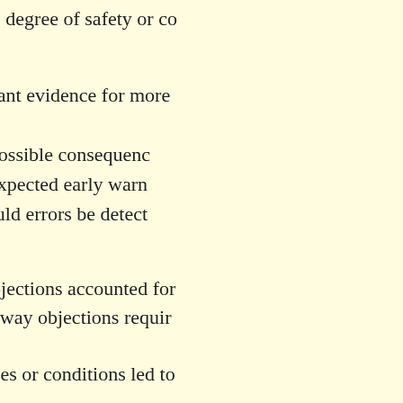safety, is the same degree of safety or co
If there is significant evidence for more
What are the possible consequenc
What are the expected early warn
How easily could errors be detect
Are reasonable objections accounted for Does explaining away objections requir
What circumstances or conditions led to
The asymptote test: Is the conclusion re
[Figure (logo): Colorful circular icon with green, magenta and yellow design on blue square background]
Investigating the Investig
Thorough investigations can provide va help to better control such situations in t accounts, which might warrant an inves potentially useful questions are:
Did the later investigation conside